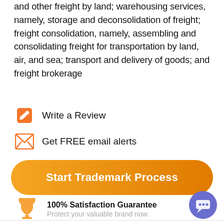and other freight by land; warehousing services, namely, storage and deconsolidation of freight; freight consolidation, namely, assembling and consolidating freight for transportation by land, air, and sea; transport and delivery of goods; and freight brokerage
Write a Review
Get FREE email alerts
Start Trademark Process
100% Satisfaction Guarantee
Protect your valuable brand now.